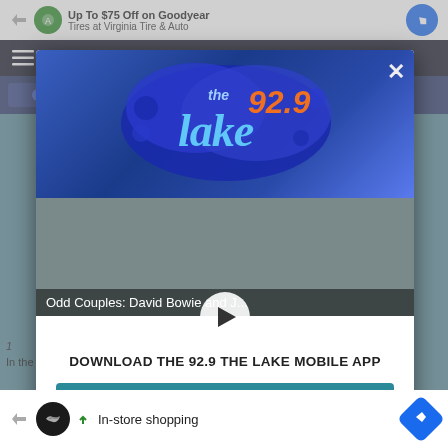[Figure (screenshot): Mobile app modal popup for 92.9 The Lake radio station. Shows station logo on blue splat background, video player with title 'Odd Couples: David Bowie and J...', play button, download prompt, teal 'GET OUR FREE MOBILE APP' button, Amazon Alexa logo, and bottom ad bar with in-store shopping ad.]
Odd Couples: David Bowie and J...
DOWNLOAD THE 92.9 THE LAKE MOBILE APP
GET OUR FREE MOBILE APP
Also listen on:  amazon alexa
In-store shopping